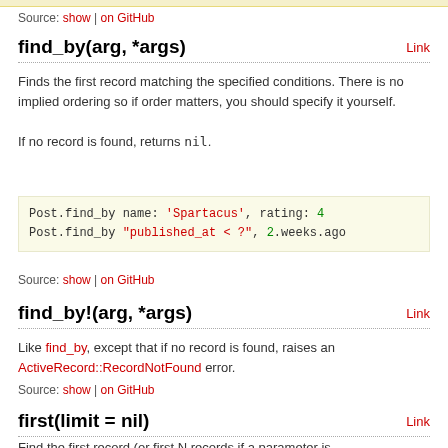Source: show | on GitHub
find_by(arg, *args)
Finds the first record matching the specified conditions. There is no implied ordering so if order matters, you should specify it yourself.

If no record is found, returns nil.
[Figure (screenshot): Code block: Post.find_by name: 'Spartacus', rating: 4
Post.find_by "published_at < ?", 2.weeks.ago]
Source: show | on GitHub
find_by!(arg, *args)
Like find_by, except that if no record is found, raises an ActiveRecord::RecordNotFound error.
Source: show | on GitHub
first(limit = nil)
Find the first record (or first N records if a parameter is